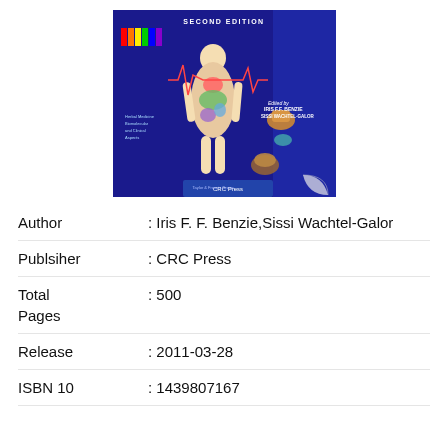[Figure (photo): Book cover of second edition, dark blue background with illustrated human body showing organs, edited by Iris F.F. Benzie and Sissi Wachtel-Galor, published by CRC Press]
Author : Iris F. F. Benzie,Sissi Wachtel-Galor
Publsiher : CRC Press
Total Pages : 500
Release : 2011-03-28
ISBN 10 : 1439807167